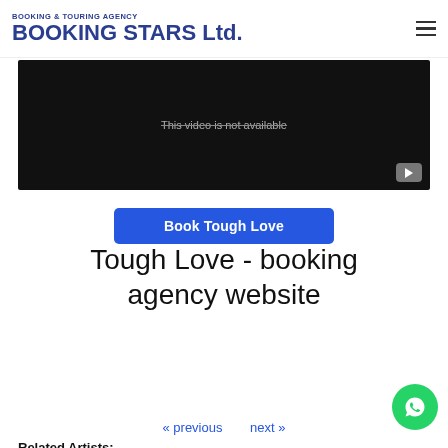BOOKING & TOURING AGENCY
BOOKING STARS Ltd.
[Figure (screenshot): YouTube video embed showing 'This video is not available' message on a black background with YouTube logo icon in the bottom right]
Book Tough Love
Tough Love - booking agency website
| Cost to book Tough Love: | Price inquiry |
| Tough Love booking agent: | Contact agent |
| Contacts: | Send Tough Love a message |
« previous   next »
Related Artists: